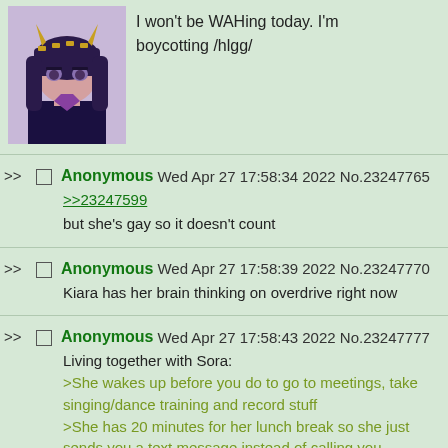[Figure (illustration): Anime character avatar with dark hair, horns/hair accessories, wearing dark outfit]
I won't be WAHing today. I'm boycotting /hlgg/
Anonymous Wed Apr 27 17:58:34 2022 No.23247765
>>23247599
but she's gay so it doesn't count
Anonymous Wed Apr 27 17:58:39 2022 No.23247770
Kiara has her brain thinking on overdrive right now
Anonymous Wed Apr 27 17:58:43 2022 No.23247777
Living together with Sora:
>She wakes up before you do to go to meetings, take singing/dance training and record stuff
>She has 20 minutes for her lunch break so she just sends you a text message instead of calling you